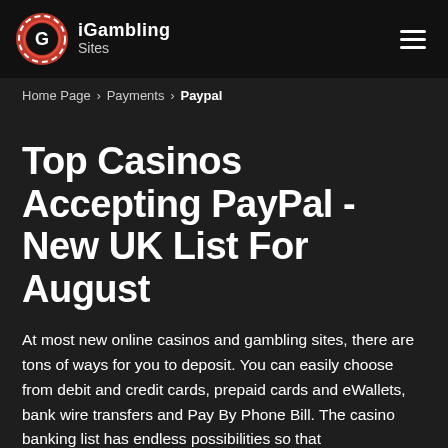iGambling Sites
Home Page > Payments > Paypal
Top Casinos Accepting PayPal - New UK List For August
At most new online casinos and gambling sites, there are tons of ways for you to deposit. You can easily choose from debit and credit cards, prepaid cards and eWallets, bank wire transfers and Pay By Phone Bill. The casino banking list has endless possibilities so that